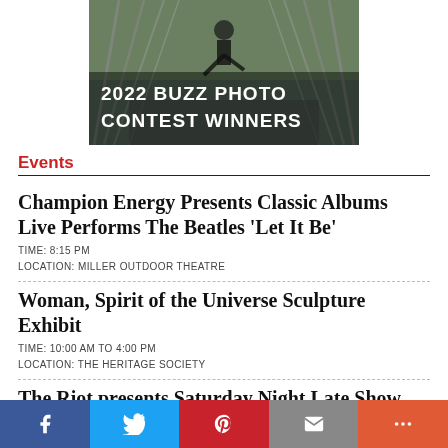[Figure (photo): Person doing a dance or martial arts kick on a bridge with metal railings, with text overlay reading '2022 BUZZ PHOTO CONTEST WINNERS']
Events
Champion Energy Presents Classic Albums Live Performs The Beatles 'Let It Be'
TIME: 8:15 PM
LOCATION: MILLER OUTDOOR THEATRE
Woman, Spirit of the Universe Sculpture Exhibit
TIME: 10:00 AM TO 4:00 PM
LOCATION: THE HERITAGE SOCIETY
The Riot presents Saturday Night Late Show